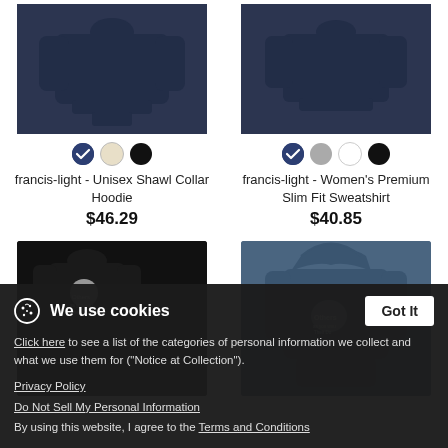[Figure (photo): Navy unisex shawl collar hoodie product photo]
[Figure (photo): Navy women's premium slim fit sweatshirt product photo]
francis-light - Unisex Shawl Collar Hoodie
$46.29
francis-light - Women's Premium Slim Fit Sweatshirt
$40.85
[Figure (photo): Black loungewear set (sweatshirt and joggers) with graphic print]
[Figure (photo): Steel blue unisex hoodie with graphic print]
We use cookies
Click here to see a list of the categories of personal information we collect and what we use them for ("Notice at Collection").
Privacy Policy
Do Not Sell My Personal Information
By using this website, I agree to the Terms and Conditions
francis-light - Lounge Wear
francis-light - Unisex O...